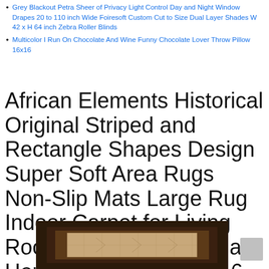Grey Blackout Petra Sheer of Privacy Light Control Day and Night Window Drapes 20 to 110 inch Wide Foiresoft Custom Cut to Size Dual Layer Shades W 42 x H 64 inch Zebra Roller Blinds
Multicolor I Run On Chocolate And Wine Funny Chocolate Lover Throw Pillow 16x16
African Elements Historical Original Striped and Rectangle Shapes Design Super Soft Area Rugs Non-Slip Mats Large Rug Indoor Carpet for Living Room Bedroom Kids Play Home Decor 15.7 X 23.6 Inches
[Figure (photo): Partial view of a striped area rug with dark brown border and beige/tan center panel, showing a geometric African-inspired design pattern.]